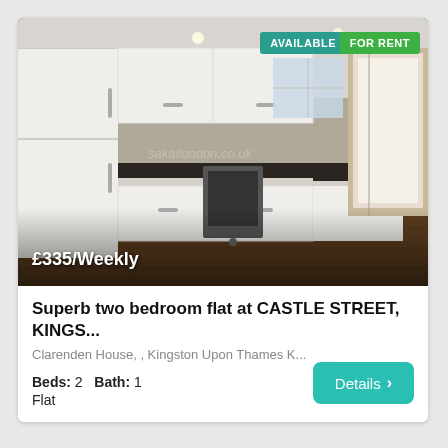[Figure (photo): Interior photo of a modern kitchen with white cabinets, dark wood floor, oven, and hallway visible. Badges 'AVAILABLE' and 'FOR RENT' in top right. Price overlay '£335/Weekly' at bottom left.]
Superb two bedroom flat at CASTLE STREET, KINGS...
Clarenden House, , Kingston Upon Thames K...
Beds: 2   Bath: 1
Flat